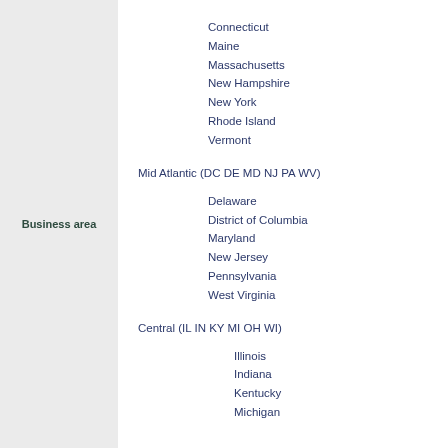Business area
Connecticut
Maine
Massachusetts
New Hampshire
New York
Rhode Island
Vermont
Mid Atlantic (DC DE MD NJ PA WV)
Delaware
District of Columbia
Maryland
New Jersey
Pennsylvania
West Virginia
Central (IL IN KY MI OH WI)
Illinois
Indiana
Kentucky
Michigan